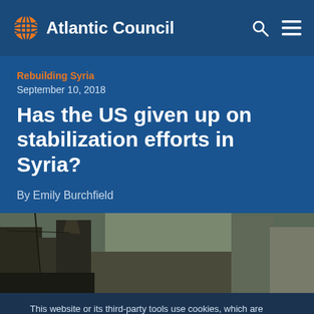Atlantic Council
Rebuilding Syria
September 10, 2018
Has the US given up on stabilization efforts in Syria?
By Emily Burchfield
[Figure (photo): Street scene in a Syrian city showing damaged urban infrastructure]
This website or its third-party tools use cookies, which are necessary for its functioning and required to achieve the purposes illustrated in the cookie policy. You accept the use of